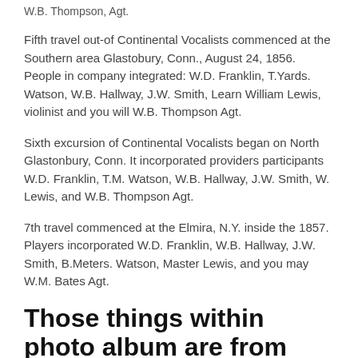W.B. Thompson, Agt.
Fifth travel out-of Continental Vocalists commenced at the Southern area Glastobury, Conn., August 24, 1856. People in company integrated: W.D. Franklin, T.Yards. Watson, W.B. Hallway, J.W. Smith, Learn William Lewis, violinist and you will W.B. Thompson Agt.
Sixth excursion of Continental Vocalists began on North Glastonbury, Conn. It incorporated providers participants W.D. Franklin, T.M. Watson, W.B. Hallway, J.W. Smith, W. Lewis, and W.B. Thompson Agt.
7th travel commenced at the Elmira, N.Y. inside the 1857. Players incorporated W.D. Franklin, W.B. Hallway, J.W. Smith, B.Meters. Watson, Master Lewis, and you may W.M. Bates Agt.
Those things within photo album are from 1857 and you